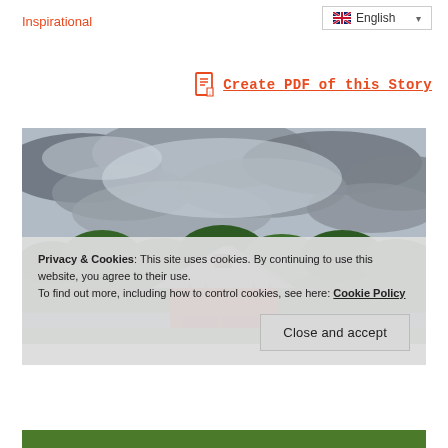Inspirational
English
Create PDF of this Story
[Figure (photo): A red barn with a grey roof set against a stormy cloudy sky with green trees in the background, rural farm landscape.]
Privacy & Cookies: This site uses cookies. By continuing to use this website, you agree to their use. To find out more, including how to control cookies, see here: Cookie Policy
Close and accept